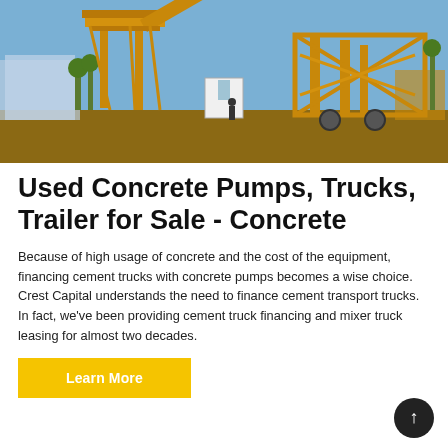[Figure (photo): Large yellow industrial concrete batching plant/equipment on a construction site with blue sky in background]
Used Concrete Pumps, Trucks, Trailer for Sale - Concrete
Because of high usage of concrete and the cost of the equipment, financing cement trucks with concrete pumps becomes a wise choice. Crest Capital understands the need to finance cement transport trucks. In fact, we've been providing cement truck financing and mixer truck leasing for almost two decades.
Learn More